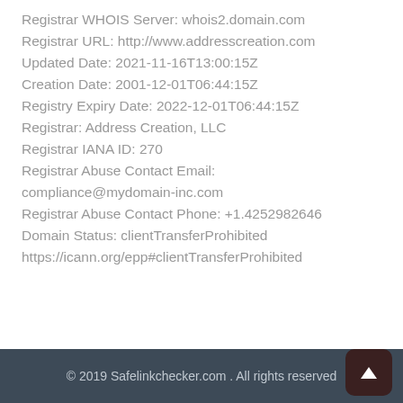Registrar WHOIS Server: whois2.domain.com
Registrar URL: http://www.addresscreation.com
Updated Date: 2021-11-16T13:00:15Z
Creation Date: 2001-12-01T06:44:15Z
Registry Expiry Date: 2022-12-01T06:44:15Z
Registrar: Address Creation, LLC
Registrar IANA ID: 270
Registrar Abuse Contact Email: compliance@mydomain-inc.com
Registrar Abuse Contact Phone: +1.4252982646
Domain Status: clientTransferProhibited https://icann.org/epp#clientTransferProhibited
© 2019 Safelinkchecker.com . All rights reserved